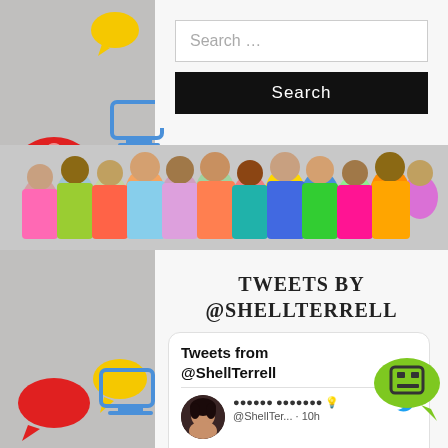[Figure (screenshot): Search input box with placeholder text 'Search ...']
[Figure (screenshot): Black search button with text 'Search']
[Figure (photo): Banner photo of diverse group of children/students standing together]
TWEETS BY @SHELLTERRELL
[Figure (screenshot): Twitter embed widget showing 'Tweets from @ShellTerrell' with a tweet from @ShellTer... posted 10h ago, beginning: 'My middle school students really loved creating vision boards this']
[Figure (illustration): Decorative colored speech bubbles and robot/monitor icons on gray background sides]